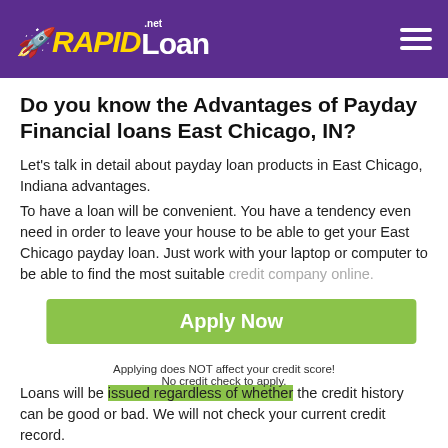RAPIDLoan.net
Do you know the Advantages of Payday Financial loans East Chicago, IN?
Let's talk in detail about payday loan products in East Chicago, Indiana advantages.
To have a loan will be convenient. You have a tendency even need in order to leave your house to be able to get your East Chicago payday loan. Just work with your laptop or computer to be able to find the most suitable credit company online.
[Figure (other): Green Apply Now button overlay with text 'Apply Now' and note 'Applying does NOT affect your credit score! No credit check to apply.']
Loans will be issued regardless of whether the credit history can be good or bad. We will not check your current credit record.